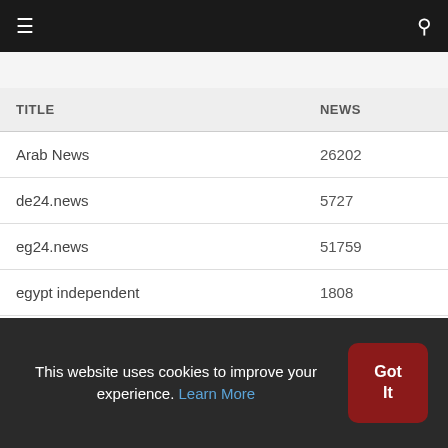≡  🔍
| TITLE | NEWS |
| --- | --- |
| Arab News | 26202 |
| de24.news | 5727 |
| eg24.news | 51759 |
| egypt independent | 1808 |
| emirates247 | 287 |
| en24 news | 1715 |
This website uses cookies to improve your experience. Learn More  Got It